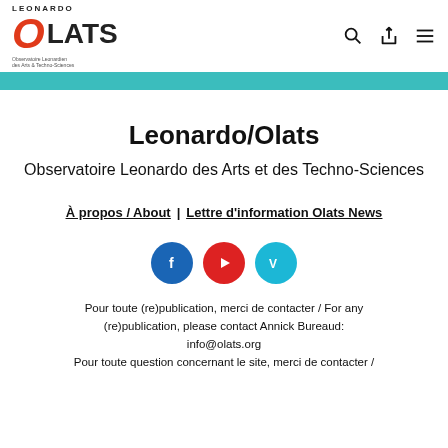[Figure (logo): Leonardo/Olats logo with red O, black LATS text, and observatory subtitle]
Leonardo/Olats
Observatoire Leonardo des Arts et des Techno-Sciences
À propos / About | Lettre d'information Olats News
[Figure (infographic): Social media icons: Facebook (blue), YouTube (red), Vimeo (teal)]
Pour toute (re)publication, merci de contacter / For any (re)publication, please contact Annick Bureaud: info@olats.org
Pour toute question concernant le site, merci de contacter /